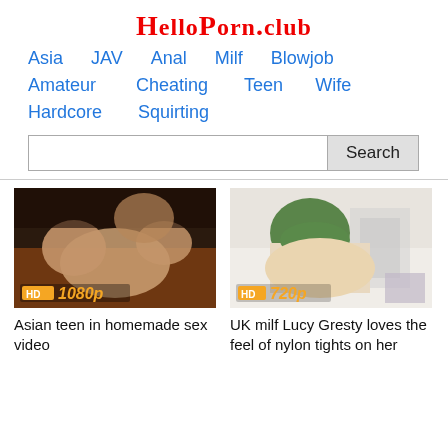HelloPorn.club
Asia
JAV
Anal
Milf
Blowjob
Amateur
Cheating
Teen
Wife
Hardcore
Squirting
[Figure (screenshot): Video thumbnail showing HD 1080p badge]
Asian teen in homemade sex video
[Figure (screenshot): Video thumbnail showing HD 720p badge]
UK milf Lucy Gresty loves the feel of nylon tights on her